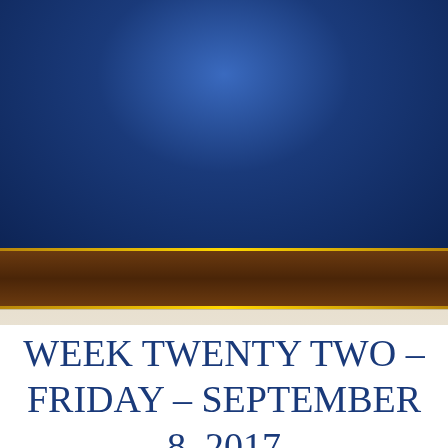[Figure (illustration): Deep blue radial gradient header background with lighter center, transitioning to dark navy at edges]
[Figure (illustration): Navigation bar with gold borders on top and bottom, dark brown background, and a white hamburger menu icon on the right side]
WEEK TWENTY TWO – FRIDAY – SEPTEMBER 8, 2017